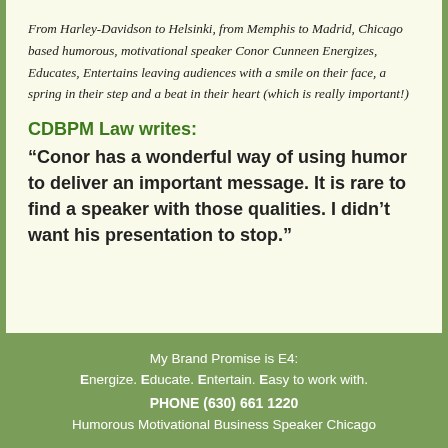From Harley-Davidson to Helsinki, from Memphis to Madrid, Chicago based humorous, motivational speaker Conor Cunneen Energizes, Educates, Entertains leaving audiences with a smile on their face, a spring in their step and a beat in their heart (which is really important!)
CDBPM Law writes:
“Conor has a wonderful way of using humor to deliver an important message. It is rare to find a speaker with those qualities. I didn’t want his presentation to stop.”
My Brand Promise is E4:
Energize. Educate. Entertain. Easy to work with.
PHONE (630) 661 1220
Humorous Motivational Business Speaker Chicago